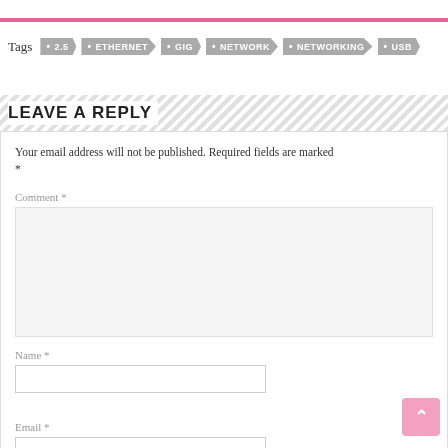Tags  • 2.5  • ETHERNET  • GIG  • NETWORK  • NETWORKING  • USB
LEAVE A REPLY
Your email address will not be published. Required fields are marked *
Comment *
Name *
Email *